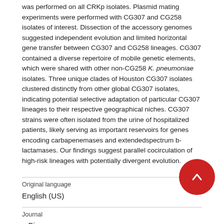was performed on all CRKp isolates. Plasmid mating experiments were performed with CG307 and CG258 isolates of interest. Dissection of the accessory genomes suggested independent evolution and limited horizontal gene transfer between CG307 and CG258 lineages. CG307 contained a diverse repertoire of mobile genetic elements, which were shared with other non-CG258 K. pneumoniae isolates. Three unique clades of Houston CG307 isolates clustered distinctly from other global CG307 isolates, indicating potential selective adaptation of particular CG307 lineages to their respective geographical niches. CG307 strains were often isolated from the urine of hospitalized patients, likely serving as important reservoirs for genes encoding carbapenemases and extendedspectrum b-lactamases. Our findings suggest parallel cocirculation of high-risk lineages with potentially divergent evolution.
Original language
English (US)
Journal
mBio
Volume